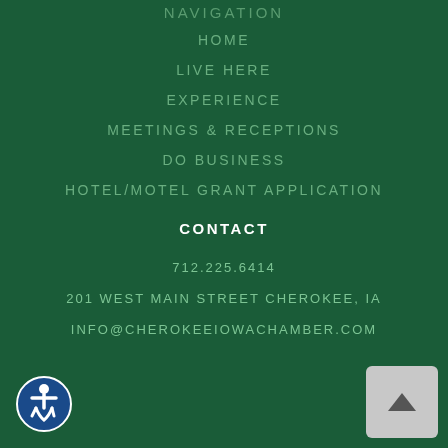NAVIGATION
HOME
LIVE HERE
EXPERIENCE
MEETINGS & RECEPTIONS
DO BUSINESS
HOTEL/MOTEL GRANT APPLICATION
CONTACT
712.225.6414
201 WEST MAIN STREET CHEROKEE, IA
INFO@CHEROKEEIOWACHAMBER.COM